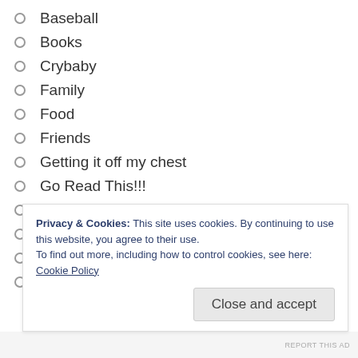Baseball
Books
Crybaby
Family
Food
Friends
Getting it off my chest
Go Read This!!!
Love Letters
Movies
Music
Nerd Stuff
Privacy & Cookies: This site uses cookies. By continuing to use this website, you agree to their use.
To find out more, including how to control cookies, see here: Cookie Policy
REPORT THIS AD